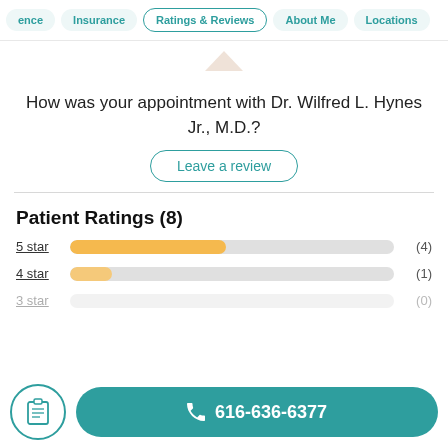ence  Insurance  Ratings & Reviews  About Me  Locations
How was your appointment with Dr. Wilfred L. Hynes Jr., M.D.?
Leave a review
Patient Ratings (8)
[Figure (bar-chart): Patient Ratings]
616-636-6377